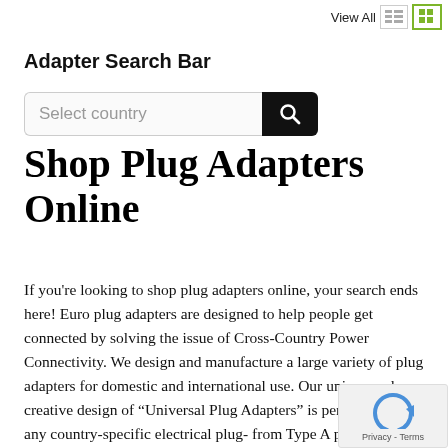View All
Adapter Search Bar
[Figure (screenshot): Search bar with 'Select country' placeholder text and a black search button with magnifying glass icon]
Shop Plug Adapters Online
If you're looking to shop plug adapters online, your search ends here! Euro plug adapters are designed to help people get connected by solving the issue of Cross-Country Power Connectivity. We design and manufacture a large variety of plug adapters for domestic and international use. Our unique and creative design of “Universal Plug Adapters” is perfect to accept any country-specific electrical plug- from Type A plug to Type M plug. As a technology-driven company, we have gained the trust of thousands of customers in the US, in the Middle East, and all majo European countries. All our products meet the required